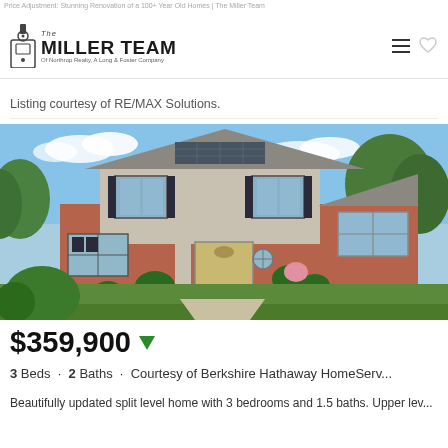Price Adjustment: Stunning Renovation of a 100+ Year Old Homes | The Miller Team
[Figure (logo): The Miller Team logo — Of Northrop Realty, A Long & Foster Company]
Listing courtesy of RE/MAX Solutions.
[Figure (photo): Exterior photo of a split-level brick home with gray siding, solar panels on roof, wooden front door, landscaped lawn, blue sky with clouds]
$359,900
3 Beds · 2 Baths · Courtesy of Berkshire Hathaway HomeServ...
Beautifully updated split level home with 3 bedrooms and 1.5 baths. Upper lev...